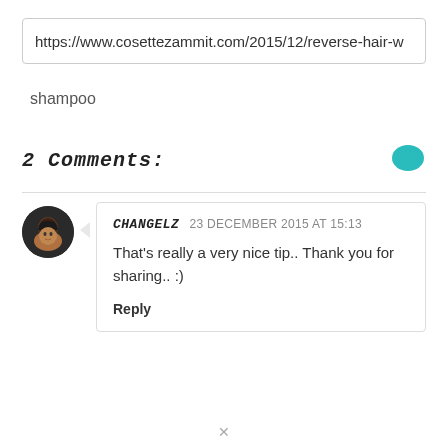https://www.cosettezammit.com/2015/12/reverse-hair-w
shampoo
2 COMMENTS:
CHANGELZ  23 DECEMBER 2015 AT 15:13
That's really a very nice tip.. Thank you for sharing.. :)
Reply